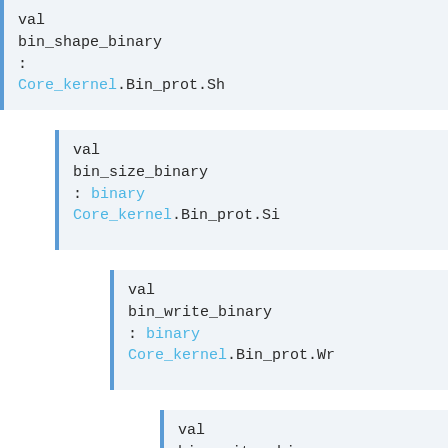val bin_shape_binary : Core_kernel.Bin_prot.Sh
val bin_size_binary : binary Core_kernel.Bin_prot.Si
val bin_write_binary : binary Core_kernel.Bin_prot.Wr
val bin_writer_binary